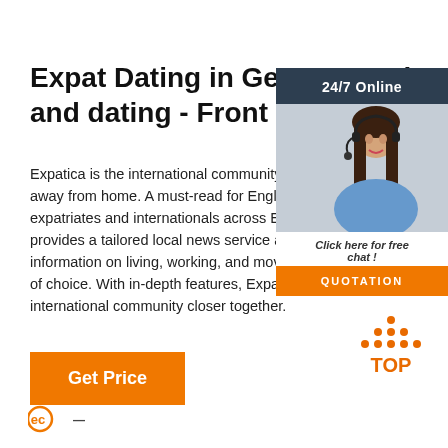Expat Dating in Germany - ch and dating - Front
Expatica is the international community's onl away from home. A must-read for English-sp expatriates and internationals across Europe provides a tailored local news service and es information on living, working, and moving to of choice. With in-depth features, Expatica b international community closer together.
[Figure (infographic): Ad widget with '24/7 Online' header in dark background, photo of woman with headset, 'Click here for free chat!' text, and orange QUOTATION button]
[Figure (logo): Orange 'TOP' logo with dots above, linking to top of page]
[Figure (logo): Partial logo at bottom left, appears to be a company logo starting with letters]